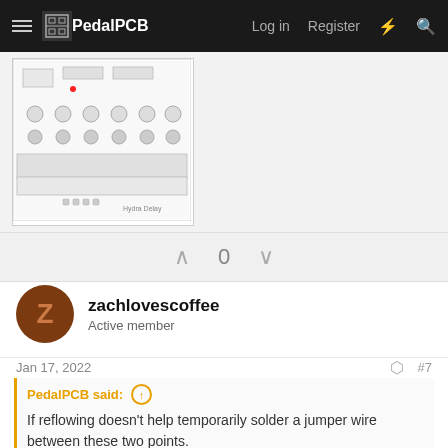PedalPCB — Log in  Register
[Figure (photo): PCB layout image of the Hydra Delay circuit board, showing component placement with through-hole components, potentiometers, and labeled pads.]
0
zachlovescoffee
Active member
Jan 17, 2022
#7
PedalPCB said: ↑
If reflowing doesn't help temporarily solder a jumper wire between these two points.

If you get effects (it won't be the Hydra) we can consider the